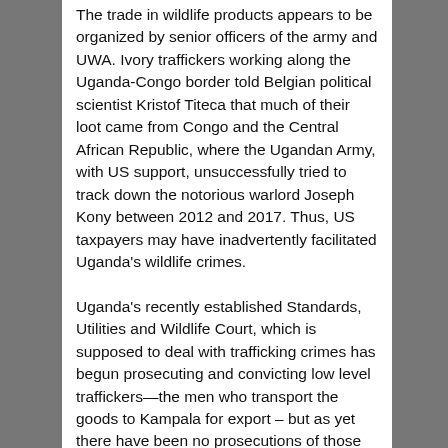The trade in wildlife products appears to be organized by senior officers of the army and UWA. Ivory traffickers working along the Uganda-Congo border told Belgian political scientist Kristof Titeca that much of their loot came from Congo and the Central African Republic, where the Ugandan Army, with US support, unsuccessfully tried to track down the notorious warlord Joseph Kony between 2012 and 2017. Thus, US taxpayers may have inadvertently facilitated Uganda's wildlife crimes.
Uganda's recently established Standards, Utilities and Wildlife Court, which is supposed to deal with trafficking crimes has begun prosecuting and convicting low level traffickers—the men who transport the goods to Kampala for export – but as yet there have been no prosecutions of those suspected of organizing the trade. When 1.35 metric tons of confiscated ivory disappeared from a Uganda Wildlife Authority storehouse in 2014, the director was suspended for two months and then reinstated. According to a 2017 Enough Project report, two senior Uganda Wildlife